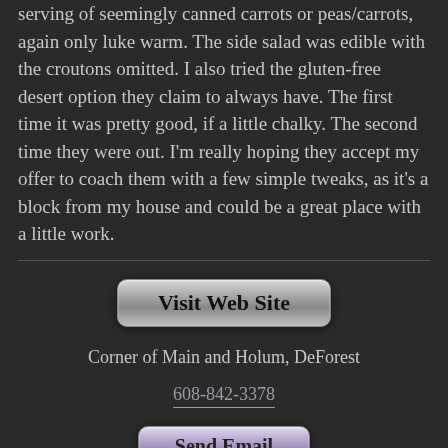serving of seemingly canned carrots or peas/carrots, again only luke warm. The side salad was edible with the croutons omitted. I also tried the gluten-free desert option they claim to always have. The first time it was pretty good, if a little chalky. The second time they were out. I'm really hoping they accept my offer to coach them with a few simple tweaks, as it's a block from my house and could be a great place with a little work.
[Figure (other): Visit Web Site button - a rounded rectangle button with grey gradient background and bold black text]
Corner of Main and Holum, DeForest
608-842-3378
[Figure (other): Send Email button - a rounded rectangle button with light purple/lavender gradient background and bold dark text]